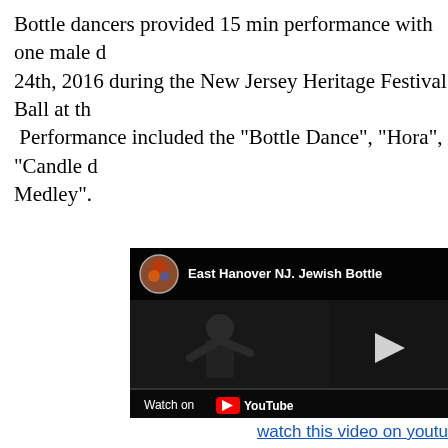Bottle dancers provided 15 min performance with one male dancer on April 24th, 2016 during the New Jersey Heritage Festival Ball at the ... Performance included the "Bottle Dance", "Hora", "Candle dance", and "Israeli Medley".
[Figure (screenshot): YouTube video embed showing 'East Hanover NJ. Jewish Bottle Dance' with dark dance performance footage and Watch on YouTube button at bottom]
watch this video on youtu